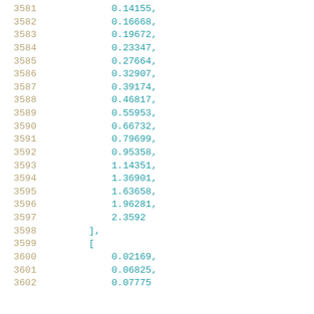3581    0.14155,
3582    0.16668,
3583    0.19672,
3584    0.23347,
3585    0.27664,
3586    0.32907,
3587    0.39174,
3588    0.46817,
3589    0.55953,
3590    0.66732,
3591    0.79699,
3592    0.95358,
3593    1.14351,
3594    1.36901,
3595    1.63658,
3596    1.96281,
3597    2.3592
3598    ],
3599    [
3600    0.02169,
3601    0.06825,
3602    0.07775